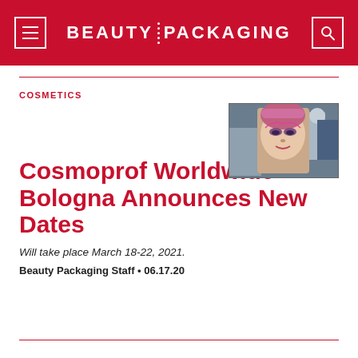BEAUTY PACKAGING
COSMETICS
[Figure (photo): Photo of a person with an artistic/avant-garde makeup look at what appears to be a trade show or beauty event, with people visible in the background]
Cosmoprof Worldwide Bologna Announces New Dates
Will take place March 18-22, 2021.
Beauty Packaging Staff • 06.17.20